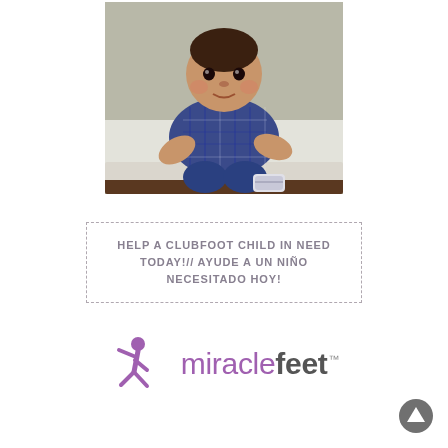[Figure (photo): A baby/toddler boy sitting on a white surface, wearing a blue plaid shirt and jeans, with a brace or cast on one foot. The child is looking toward the camera.]
HELP A CLUBFOOT CHILD IN NEED TODAY!// AYUDE A UN NIÑO NECESITADO HOY!
[Figure (logo): MiracleFeet logo: a purple stylized running figure icon beside the text 'miraclefeet' with a trademark symbol. 'miracle' in purple, 'feet' in dark gray bold.]